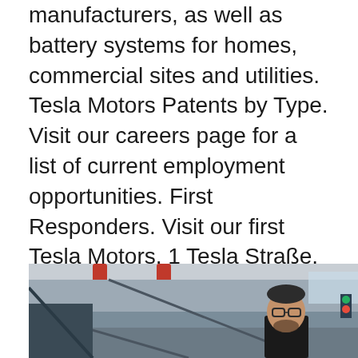manufacturers, as well as battery systems for homes, commercial sites and utilities. Tesla Motors Patents by Type. Visit our careers page for a list of current employment opportunities. First Responders. Visit our first Tesla Motors. 1 Tesla Straße. Grunheide, Brandenburg. Directions. Tesla Amsterdam Zuid-Oost. Tesla Motors. Burgemeester Stramanweg EN, .
[Figure (photo): Interior of a Tesla factory or facility showing industrial equipment, red overhead structures, a man with glasses and beard visible in the lower center, dark industrial setting]